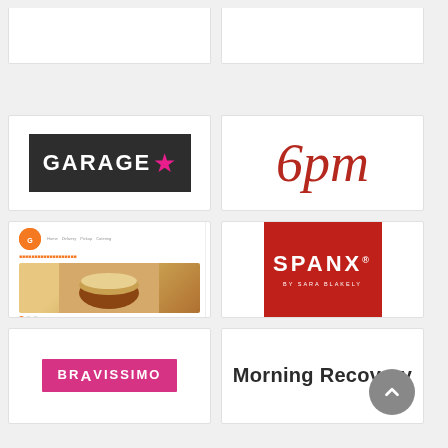[Figure (logo): Partially visible card top row left - cropped]
[Figure (logo): Partially visible card top row right - cropped]
[Figure (logo): Garage clothing brand logo - dark background with white bold text GARAGE and pink star]
[Figure (logo): 6pm logo in dark red italic cursive script]
[Figure (screenshot): Grubhub website screenshot showing food delivery interface with burger image]
[Figure (logo): SPANX by Sara Blakely logo on red background]
[Figure (logo): Bravissimo logo in pink/magenta box with white uppercase text]
[Figure (logo): Morning Recovery brand name in dark bold sans-serif text]